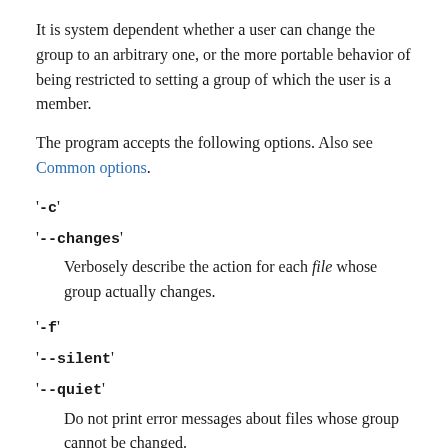It is system dependent whether a user can change the group to an arbitrary one, or the more portable behavior of being restricted to setting a group of which the user is a member.
The program accepts the following options. Also see Common options.
'-c'
'--changes'
Verbosely describe the action for each file whose group actually changes.
'-f'
'--silent'
'--quiet'
Do not print error messages about files whose group cannot be changed.